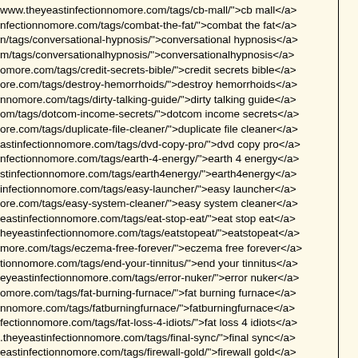www.theyeastinfectionnomore.com/tags/cb-mall/">cb mall</a>
nfectionnomore.com/tags/combat-the-fat/">combat the fat</a>
n/tags/conversational-hypnosis/">conversational hypnosis</a>
m/tags/conversationalhypnosis/">conversationalhypnosis</a>
omore.com/tags/credit-secrets-bible/">credit secrets bible</a>
ore.com/tags/destroy-hemorrhoids/">destroy hemorrhoids</a>
nnomore.com/tags/dirty-talking-guide/">dirty talking guide</a>
om/tags/dotcom-income-secrets/">dotcom income secrets</a>
ore.com/tags/duplicate-file-cleaner/">duplicate file cleaner</a>
astinfectionnomore.com/tags/dvd-copy-pro/">dvd copy pro</a>
nfectionnomore.com/tags/earth-4-energy/">earth 4 energy</a>
stinfectionnomore.com/tags/earth4energy/">earth4energy</a>
infectionnomore.com/tags/easy-launcher/">easy launcher</a>
ore.com/tags/easy-system-cleaner/">easy system cleaner</a>
eastinfectionnomore.com/tags/eat-stop-eat/">eat stop eat</a>
heyeastinfectionnomore.com/tags/eatstopeat/">eatstopeat</a>
more.com/tags/eczema-free-forever/">eczema free forever</a>
tionnomore.com/tags/end-your-tinnitus/">end your tinnitus</a>
eyeastinfectionnomore.com/tags/error-nuker/">error nuker</a>
omore.com/tags/fat-burning-furnace/">fat burning furnace</a>
nnomore.com/tags/fatburningfurnace/">fatburningfurnace</a>
fectionnomore.com/tags/fat-loss-4-idiots/">fat loss 4 idiots</a>
.theyeastinfectionnomore.com/tags/final-sync/">final sync</a>
eastinfectionnomore.com/tags/firewall-gold/">firewall gold</a>
com/tags/fitness-model-program/">fitness model program</a>
theyeastinfectionnomore.com/tags/fit-over-40/">fit over 40</a>
nnomore.com/tags/fit-yummy-yummy/">fit yummy yummy</a>
ectionnomore.com/tags/flatten-your-abs/">flatten your abs</a>
infectionnomore.com/tags/flattenyourabs/">flattenyourabs</a>
ags/forex-candlesticks-made-easy/">forex candlesticks made>